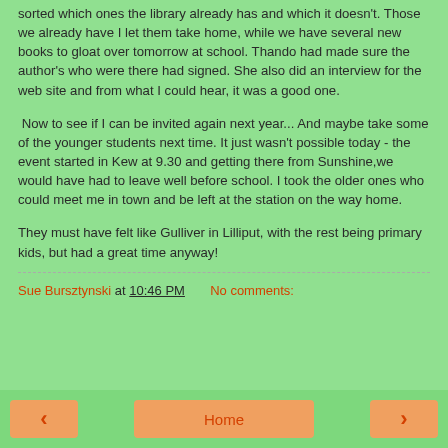sorted which ones the library already has and which it doesn't. Those we already have I let them take home, while we have several new books to gloat over tomorrow at school. Thando had made sure the author's who were there had signed. She also did an interview for the web site and from what I could hear, it was a good one.
Now to see if I can be invited again next year... And maybe take some of the younger students next time. It just wasn't possible today - the event started in Kew at 9.30 and getting there from Sunshine,we would have had to leave well before school. I took the older ones who could meet me in town and be left at the station on the way home.
They must have felt like Gulliver in Lilliput, with the rest being primary kids, but had a great time anyway!
Sue Bursztynski at 10:46 PM   No comments:
‹  Home  ›